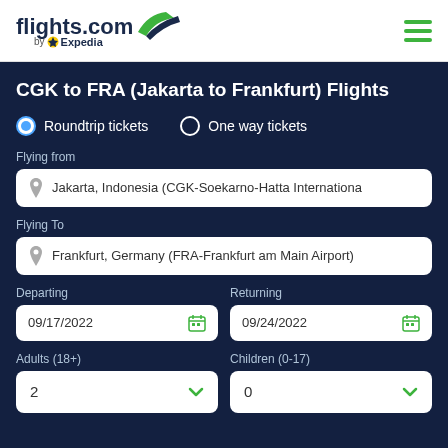[Figure (logo): flights.com by Expedia logo with wing icon]
CGK to FRA (Jakarta to Frankfurt) Flights
Roundtrip tickets (selected)
One way tickets
Flying from
Jakarta, Indonesia (CGK-Soekarno-Hatta Internationa
Flying To
Frankfurt, Germany (FRA-Frankfurt am Main Airport)
Departing
09/17/2022
Returning
09/24/2022
Adults (18+)
2
Children (0-17)
0